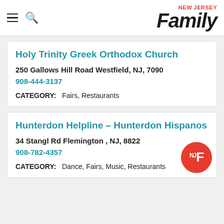NEW JERSEY Family
Holy Trinity Greek Orthodox Church
250 Gallows Hill Road Westfield, NJ, 7090
908-444-3137
CATEGORY: Fairs, Restaurants
Hunterdon Helpline – Hunterdon Hispanos
34 Stangl Rd Flemington , NJ, 8822
908-782-4357
CATEGORY: Dance, Fairs, Music, Restaurants